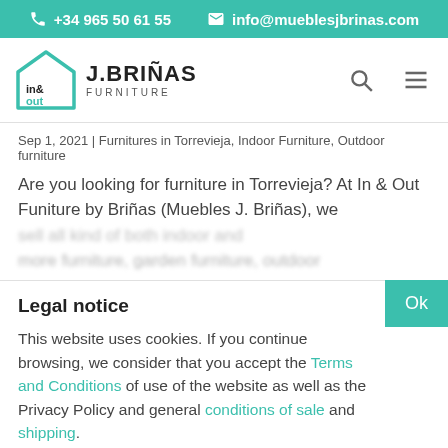+34 965 50 61 55   info@mueblesjbrinas.com
[Figure (logo): J.BRIÑAS FURNITURE in&out logo with house outline icon]
Sep 1, 2021 | Furnitures in Torrevieja, Indoor Furniture, Outdoor furniture
Are you looking for furniture in Torrevieja? At In & Out Funiture by Briñas (Muebles J. Briñas), we
Legal notice
This website uses cookies. If you continue browsing, we consider that you accept the Terms and Conditions of use of the website as well as the Privacy Policy and general conditions of sale and shipping.